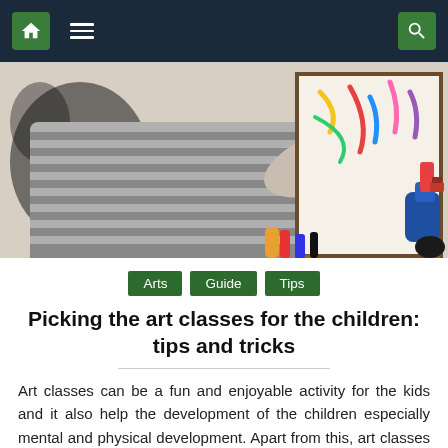Navigation bar with home, menu, and search icons
[Figure (photo): A child in a gray striped sweater painting colorful strokes on a white canvas mounted on a wooden easel. Art supplies visible around the scene.]
Arts   Guide   Tips
Picking the art classes for the children: tips and tricks
Art classes can be a fun and enjoyable activity for the kids and it also help the development of the children especially mental and physical development. Apart from this, art classes can be enjoyable for all kinds of ages but kids enjoy more. In addition, some types of art classes also inspire the